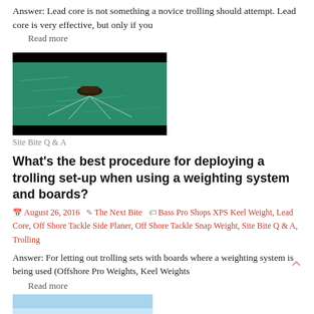Answer: Lead core is not something a novice trolling should attempt. Lead core is very effective, but only if you
Read more
[Figure (photo): Aerial or overhead photo of a fishing boat on green water with trolling lines visible]
Site Bite Q & A
What's the best procedure for deploying a trolling set-up when using a weighting system and boards?
August 26, 2016  The Next Bite  Bass Pro Shops XPS Keel Weight, Lead Core, Off Shore Tackle Side Planer, Off Shore Tackle Snap Weight, Site Bite Q & A, Trolling
Answer: For letting out trolling sets with boards where a weighting system is being used (Offshore Pro Weights, Keel Weights
Read more
[Figure (photo): Partial image of a fishing scene at the bottom of the page]